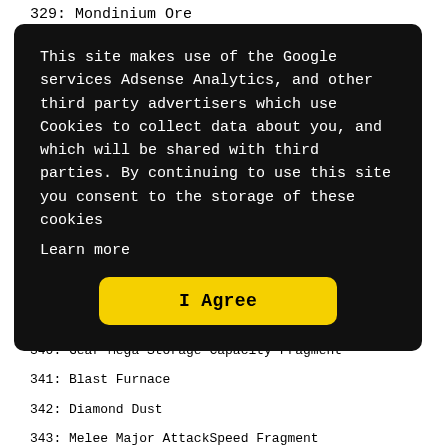329: Mondinium Ore
This site makes use of the Google services Adsense Analytics, and other third party advertisers which use Cookies to collect data about you, and which will be shared with third parties. By continuing to use this site you consent to the storage of these cookies
Learn more
I Agree
339: Shotgun
340: Gear Mega Storage Capacity Fragment
341: Blast Furnace
342: Diamond Dust
343: Melee Major AttackSpeed Fragment